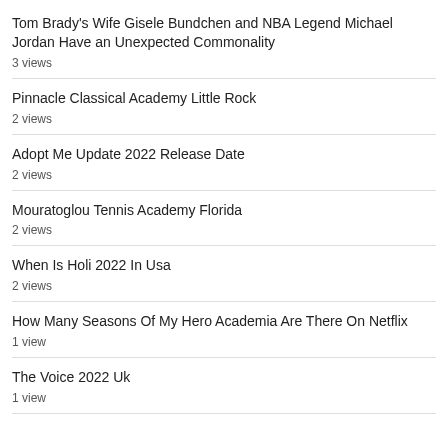Tom Brady's Wife Gisele Bundchen and NBA Legend Michael Jordan Have an Unexpected Commonality
3 views
Pinnacle Classical Academy Little Rock
2 views
Adopt Me Update 2022 Release Date
2 views
Mouratoglou Tennis Academy Florida
2 views
When Is Holi 2022 In Usa
2 views
How Many Seasons Of My Hero Academia Are There On Netflix
1 view
The Voice 2022 Uk
1 view